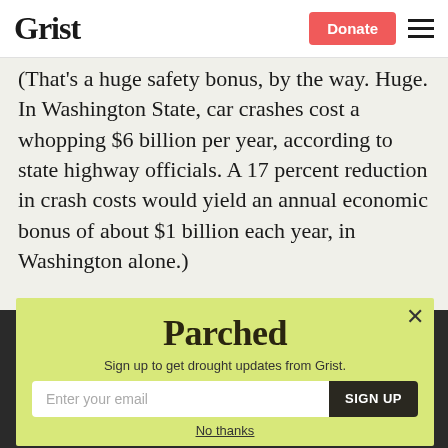Grist | Donate
(That's a huge safety bonus, by the way. Huge. In Washington State, car crashes cost a whopping $6 billion per year, according to state highway officials. A 17 percent reduction in crash costs would yield an annual economic bonus of about $1 billion each year, in Washington alone.)
Parched
Sign up to get drought updates from Grist.
Enter your email | SIGN UP
No thanks